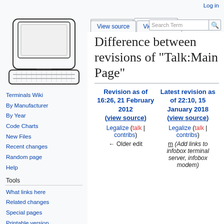Log in
[Figure (illustration): Line drawing of a computer terminal with keyboard, Terminals Wiki logo]
Terminals Wiki
By Manufacturer
By Year
Code Charts
New Files
Recent changes
Random page
Help
Tools
What links here
Related changes
Special pages
Printable version
Difference between revisions of "Talk:Main Page"
| Revision as of 16:26, 21 February 2012 (view source) | Latest revision as of 22:10, 15 January 2018 (view source) |
| --- | --- |
| Legalize (talk | contribs) | Legalize (talk | contribs) |
| ← Older edit | m (Add links to infobox terminal server, infobox modem) |